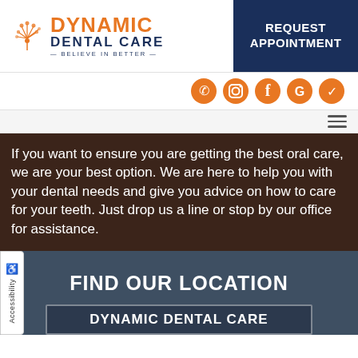[Figure (logo): Dynamic Dental Care logo with orange dandelion graphic and text: DYNAMIC DENTAL CARE — BELIEVE IN BETTER —]
REQUEST APPOINTMENT
[Figure (infographic): Social media icons: phone, Instagram, Facebook, Google, checkmark/ratings — all in orange circle style]
If you want to ensure you are getting the best oral care, we are your best option. We are here to help you with your dental needs and give you advice on how to care for your teeth. Just drop us a line or stop by our office for assistance.
FIND OUR LOCATION
DYNAMIC DENTAL CARE